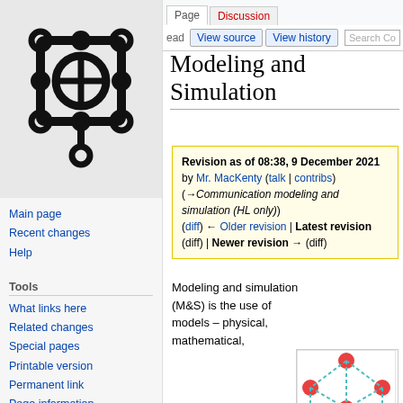[Figure (logo): Wikipedia-style logo showing a network/circuit diagram icon in black on light gray background]
Main page
Recent changes
Help
Tools
What links here
Related changes
Special pages
Printable version
Permanent link
Page information
Cite this page
Legal
Log in
Modeling and Simulation
Revision as of 08:38, 9 December 2021 by Mr. MacKenty (talk | contribs) (→Communication modeling and simulation (HL only)) (diff) ← Older revision | Latest revision (diff) | Newer revision → (diff)
Modeling and simulation (M&S) is the use of models – physical, mathematical,
[Figure (network-graph): Network graph showing 6 red circular nodes connected by teal/cyan dashed lines in a hexagonal pattern with a center node]